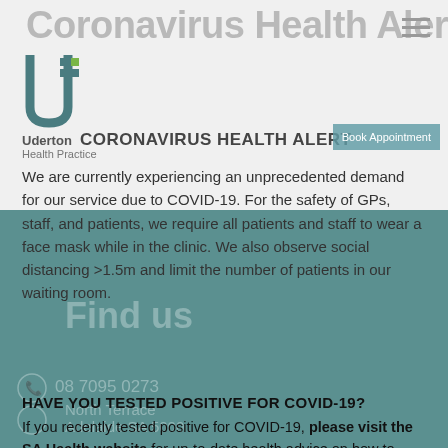Coronavirus Health Alert
CORONAVIRUS HEALTH ALERT
We are currently experiencing an unprecedented demand for our service due to COVID-19. For the safety of GPs, staff, and patients, we require all patients and staff to wear a face mask while in the clinic. We also observe social distancing >1.5m and limit the number of patients in our waiting room.
HAVE YOU TESTED POSITIVE FOR COVID-19?
If you recently tested positive for COVID-19, please visit the SA Health website for up-to-date health advice on how to report and manage your illness.
ANTIVIRAL MEDICATION
If you have tested positive and would like to access
[Figure (infographic): Find us panel with phone number 08 7095 0273, address North Terrace Adelaide SA 5000, and opening hours Monday 8:30am-5:30pm, Tuesday 8:30am-7:00pm, Wednesday 8:30am-5:30pm, Thursday 8:30am-5:30pm showing as a teal overlay]